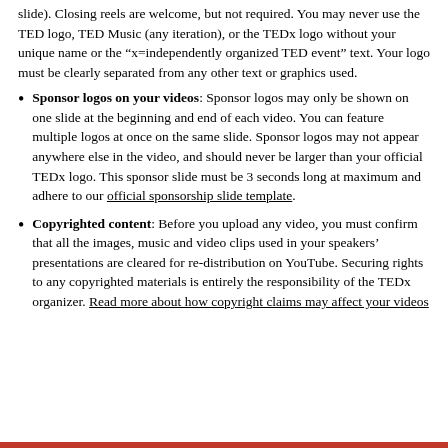slide). Closing reels are welcome, but not required. You may never use the TED logo, TED Music (any iteration), or the TEDx logo without your unique name or the “x=independently organized TED event” text. Your logo must be clearly separated from any other text or graphics used.
Sponsor logos on your videos: Sponsor logos may only be shown on one slide at the beginning and end of each video. You can feature multiple logos at once on the same slide. Sponsor logos may not appear anywhere else in the video, and should never be larger than your official TEDx logo. This sponsor slide must be 3 seconds long at maximum and adhere to our official sponsorship slide template.
Copyrighted content: Before you upload any video, you must confirm that all the images, music and video clips used in your speakers’ presentations are cleared for re-distribution on YouTube. Securing rights to any copyrighted materials is entirely the responsibility of the TEDx organizer. Read more about how copyright claims may affect your videos